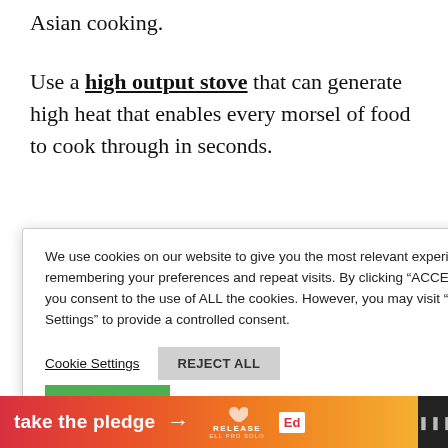Asian cooking.
Use a high output stove that can generate high heat that enables every morsel of food to cook through in seconds.
e with your
We use cookies on our website to give you the most relevant experience by remembering your preferences and repeat visits. By clicking “ACCEPT ALL”, you consent to the use of ALL the cookies. However, you may visit "Cookie Settings" to provide a controlled consent.
Cookie Settings
REJECT ALL
ACCEPT ALL
404
take the pledge →